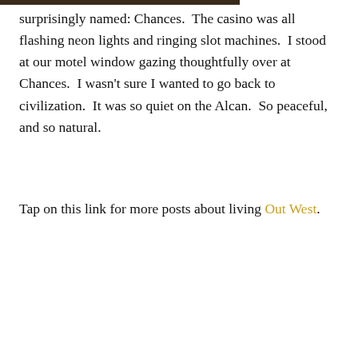[Figure (photo): Partial view of a photograph at the top of the page, appears to show an outdoor scene with dark tones.]
surprisingly named: Chances.  The casino was all flashing neon lights and ringing slot machines.  I stood at our motel window gazing thoughtfully over at Chances.  I wasn't sure I wanted to go back to civilization.  It was so quiet on the Alcan.  So peaceful, and so natural.
Tap on this link for more posts about living Out West.